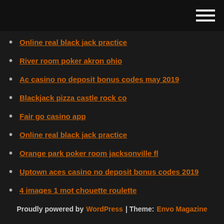[hamburger menu icon]
Online real black jack practice
River room poker akron ohio
Ac casino no deposit bonus codes may 2019
Blackjack pizza castle rock co
Fair go casino app
Online real black jack practice
Orange park poker room jacksonville fl
Uptown aces casino no deposit bonus codes 2019
4 images 1 mot chouette roulette
Blackjack pizza castle rock co
How to be a casino online dealer
Proudly powered by WordPress | Theme: Envo Magazine